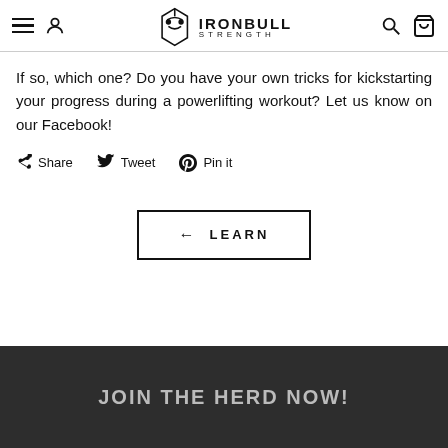IronBull Strength — navigation header with menu, user, logo, search, cart icons
If so, which one? Do you have your own tricks for kickstarting your progress during a powerlifting workout? Let us know on our Facebook!
Share   Tweet   Pin it
[Figure (other): ← LEARN button with left arrow, bordered rectangle]
JOIN THE HERD NOW!